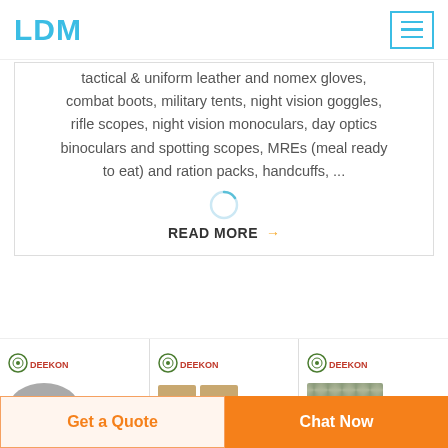LDM
tactical & uniform leather and nomex gloves, combat boots, military tents, night vision goggles, rifle scopes, night vision monoculars, day optics binoculars and spotting scopes, MREs (meal ready to eat) and ration packs, handcuffs, ...
READ MORE →
[Figure (photo): Product card 1: DEEKON branded military product, grey cylindrical item]
[Figure (photo): Product card 2: DEEKON branded military product, tan/khaki pouches]
[Figure (photo): Product card 3: DEEKON branded military product, camouflage uniform/vest]
Get a Quote
Chat Now